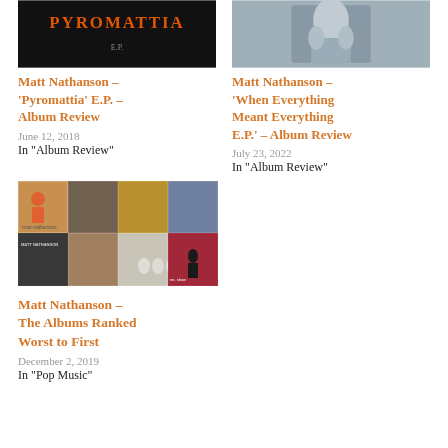[Figure (photo): Album cover for Pyromattia E.P. with orange text on dark background]
Matt Nathanson – 'Pyromattia' E.P. – Album Review
June 12, 2018
In "Album Review"
[Figure (photo): Album cover for When Everything Meant Everything E.P. showing a statue in teal/grey tones]
Matt Nathanson – 'When Everything Meant Everything E.P.' – Album Review
July 23, 2022
In "Album Review"
[Figure (photo): Mosaic of 8 Matt Nathanson album covers arranged in a 4x2 grid]
Matt Nathanson – The Albums Ranked Worst to First
December 2, 2019
In "Pop Music"